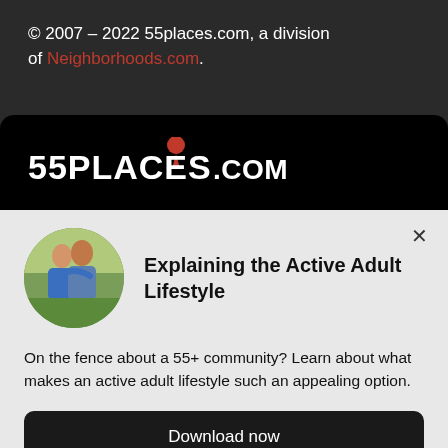© 2007 – 2022 55places.com, a division of Neighborhoods.com.
[Figure (logo): 55PLACES.COM logo in white text with a red map pin above the letter i on a black background]
Explaining the Active Adult Lifestyle
[Figure (photo): Circular photo of an older couple hugging outdoors in a green field]
On the fence about a 55+ community? Learn about what makes an active adult lifestyle such an appealing option.
Download now